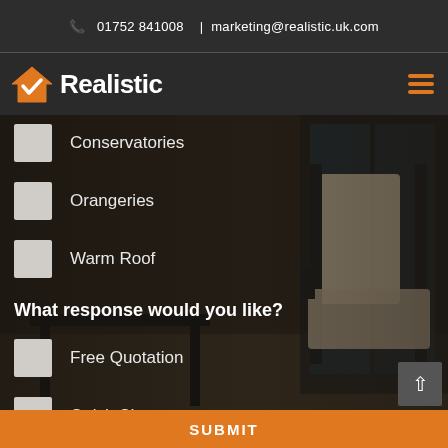📞 01752 841008  |  marketing@realistic.uk.com
[Figure (logo): Realistic company logo with orange house checkmark icon and white bold text 'Realistic']
Conservatories
Orangeries
Warm Roof
What response would you like?
Free Quotation
Quick Chat
Brochures
SUBMIT